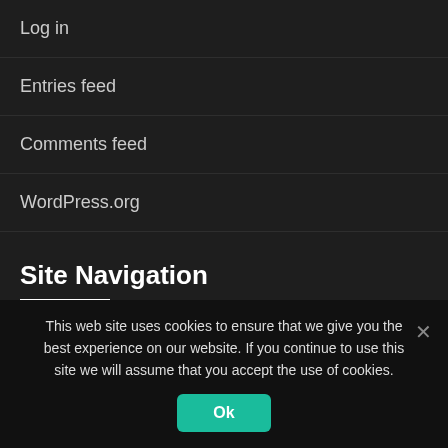Log in
Entries feed
Comments feed
WordPress.org
Site Navigation
Home
Who we are
This web site uses cookies to ensure that we give you the best experience on our website. If you continue to use this site we will assume that you accept the use of cookies.